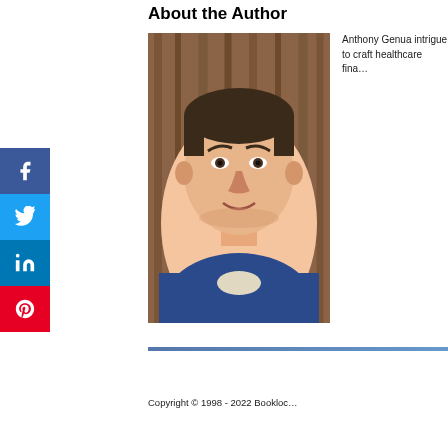About the Author
[Figure (photo): Headshot photo of Anthony Genua, a middle-aged man with dark hair, wearing a blue shirt, smiling, against a wooden background.]
Anthony Genua intrigue to craft healthcare fina…
[Figure (infographic): Social media share buttons sidebar: Facebook (blue), Twitter (light blue), LinkedIn (blue), Pinterest (red)]
Copyright © 1998 - 2022 Bookloc…